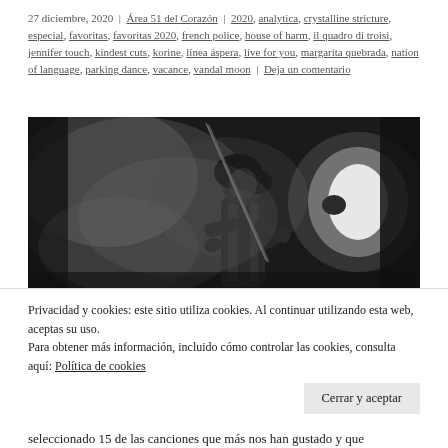27 diciembre, 2020 | Área 51 del Corazón | 2020, analytica, crystalline stricture, especial, favoritas, favoritas 2020, french police, house of harm, il quadro di troisi, jennifer touch, kindest cuts, korine, línea áspera, live for you, margarita quebrada, nation of language, parking dance, vacance, vandal moon | Deja un comentario
[Figure (photo): Black and white cinematic photo of a man holding a rifle/stick, standing in what appears to be a smoky or foggy environment with a bright light source to his right.]
Privacidad y cookies: este sitio utiliza cookies. Al continuar utilizando esta web, aceptas su uso.
Para obtener más información, incluido cómo controlar las cookies, consulta aquí: Política de cookies
seleccionado 15 de las canciones que más nos han gustado y que